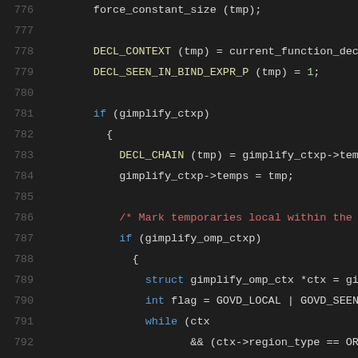[Figure (screenshot): Source code editor showing C code lines 776-797 with syntax highlighting. Dark background, line numbers in gray on left, code with colored keywords (blue for keywords, red for comments, yellow for function names, white/gray for identifiers and punctuation).]